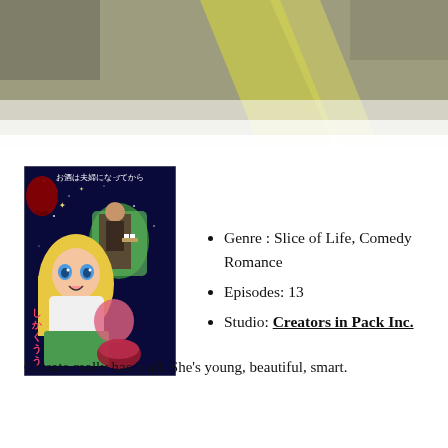[Figure (photo): Top banner showing a blurred room ceiling with yellow/olive colored walls and ceiling panels, photographed from below.]
[Figure (illustration): Anime manga-style cover art for 'お酒は夫婦になってから' showing a blonde female character in foreground, a male character holding a tray in the background, with Japanese text including しかくうう on the left side. Dark blue starry background with food/drink motifs.]
Genre : Slice of Life, Comedy Romance
Episodes: 13
Studio: Creators in Pack Inc.
Chisato really has it all. She's young, beautiful, smart.